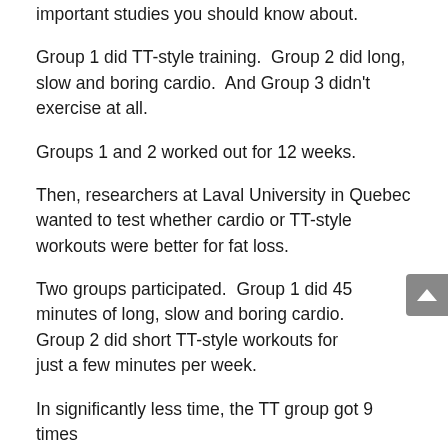important studies you should know about.
Group 1 did TT-style training.  Group 2 did long, slow and boring cardio.  And Group 3 didn't exercise at all.
Groups 1 and 2 worked out for 12 weeks.
Then, researchers at Laval University in Quebec wanted to test whether cardio or TT-style workouts were better for fat loss.
Two groups participated.  Group 1 did 45 minutes of long, slow and boring cardio.  Group 2 did short TT-style workouts for just a few minutes per week.
In significantly less time, the TT group got 9 times